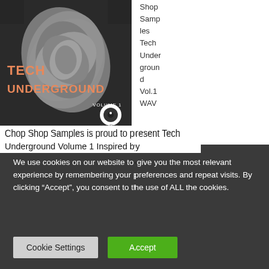[Figure (illustration): Album cover art for 'Tech Underground Vol.1' by Chop Shop Samples. Shows a grey abstract paper flower/rose on a dark background with orange and white text. Chop Shop logo in bottom right of cover.]
Chop Shop Samples Tech Underground Vol.1 WAV
Chop Shop Samples is proud to present Tech Underground Volume 1 Inspired by
We use cookies on our website to give you the most relevant experience by remembering your preferences and repeat visits. By clicking “Accept”, you consent to the use of ALL the cookies.
Cookie Settings
Accept